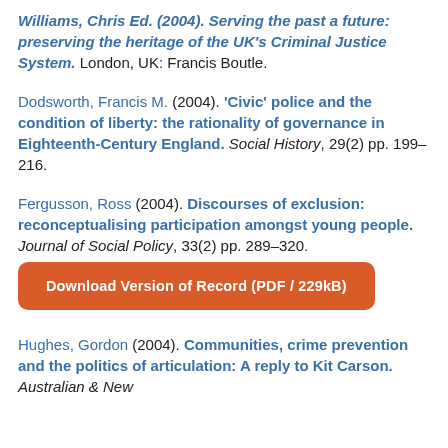Williams, Chris Ed. (2004). Serving the past a future: preserving the heritage of the UK's Criminal Justice System. London, UK: Francis Boutle.
Dodsworth, Francis M. (2004). 'Civic' police and the condition of liberty: the rationality of governance in Eighteenth-Century England. Social History, 29(2) pp. 199–216.
Fergusson, Ross (2004). Discourses of exclusion: reconceptualising participation amongst young people. Journal of Social Policy, 33(2) pp. 289–320.
Download Version of Record (PDF / 229kB)
Hughes, Gordon (2004). Communities, crime prevention and the politics of articulation: A reply to Kit Carson. Australian & New